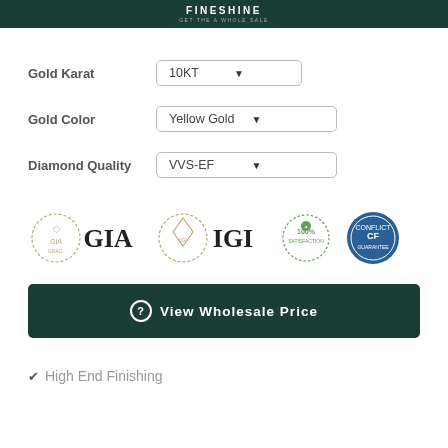FINESHINE
Gold Karat: 10KT
Gold Color: Yellow Gold
Diamond Quality: VVS-EF
[Figure (logo): GIA logo, IGI logo, 100% satisfaction badge, Conflict Free diamond guarantee badge]
View Wholesale Price
✔ High End Finishing